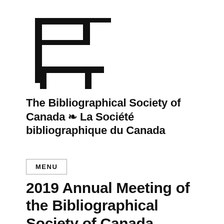[Figure (logo): Abstract logo resembling a stylized printing press or East Asian character made of bold black lines and rectangular forms]
The Bibliographical Society of Canada ❧ La Société bibliographique du Canada
MENU
2019 Annual Meeting of the Bibliographical Society of Canada